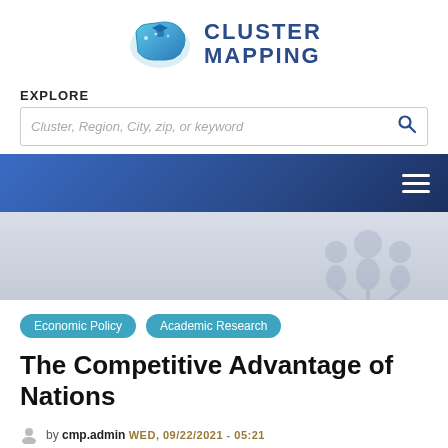[Figure (logo): US Cluster Mapping logo with stylized US map icon in blue and teal, and text 'CLUSTER MAPPING' in dark blue bold letters]
EXPLORE
Cluster, Region, City, zip, or keyword
[Figure (screenshot): Dark blue navigation bar with hamburger menu icon on the right]
[Figure (illustration): Light gray banner with watermark-style cluster/people icon in gray on the right side]
Economic Policy
Academic Research
The Competitive Advantage of Nations
by cmp.admin WED, 09/22/2021 - 05:21